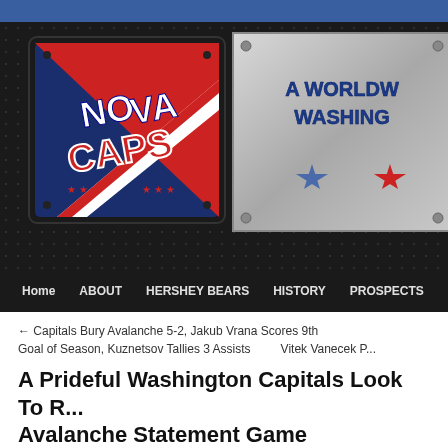[Figure (logo): NovaCaps website header banner with Nova Caps logo on left (red, white, blue diagonal design) and 'A WORLDW... WASHING...' tagline with stars on right, on dark diamond-plate background]
Home  ABOUT  HERSHEY BEARS  HISTORY  PROSPECTS
← Capitals Bury Avalanche 5-2, Jakub Vrana Scores 9th Goal of Season, Kuznetsov Tallies 3 Assists    Vitek Vanecek P...
A Prideful Washington Capitals Look To R... Avalanche Statement Game
Posted on December 13, 2017 by